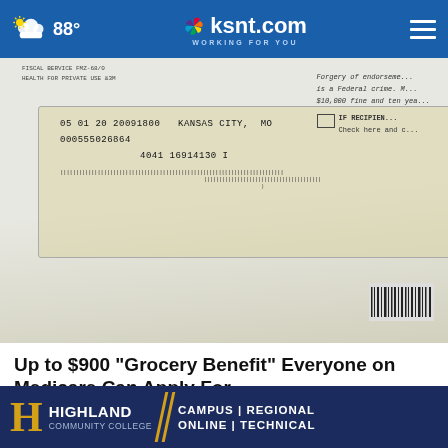88° ksnt.com WORKING FOR YOU
[Figure (photo): Close-up photo of a government check envelope showing a window with printed address information: '05 01 20 20091800 KANSAS CITY, MO', '000555026864', '4041 16914130 I', with barcode strip at bottom. Upper right shows text: 'Forgery of endorsement is a Federal crime. M... $10,000 fine and ten yea...' and 'IF RECIPIENT Check here and...']
Up to $900 "Grocery Benefit" Everyone on Medicare Can Apply For
Smart Lifestyle Trends
[Figure (illustration): Highland Community College advertisement banner with gold H logo, 'HIGHLAND COMMUNITY COLLEGE' text, and 'CAMPUS | REGIONAL ONLINE | TECHNICAL' on dark blue background with gold diagonal dividers]